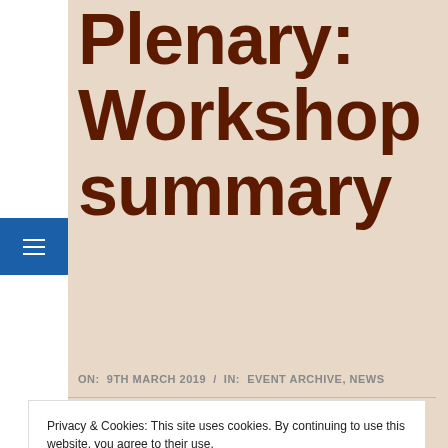Plenary: Workshop summary
ON:  9TH MARCH 2019  /  IN:  EVENT ARCHIVE, NEWS
Privacy & Cookies: This site uses cookies. By continuing to use this website, you agree to their use.
To find out more, including how to control cookies, see here: Cookie Policy
Close and accept
presentation slides can be found here. Audio